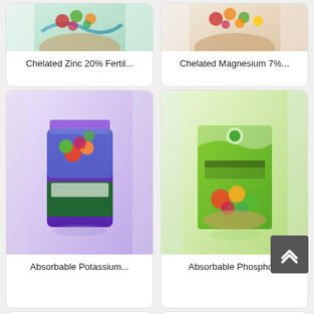[Figure (photo): Chelated Zinc 20% fertilizer product package with fruits]
Chelated Zinc 20% Fertil...
[Figure (photo): Chelated Magnesium 7% fertilizer product box with fruits]
Chelated Magnesium 7%...
[Figure (photo): Absorbable Potassium fertilizer purple bag with fruits]
Absorbable Potassium...
[Figure (photo): Absorbable Phosphorus 25% fertilizer green box with fruits]
Absorbable Phospho...